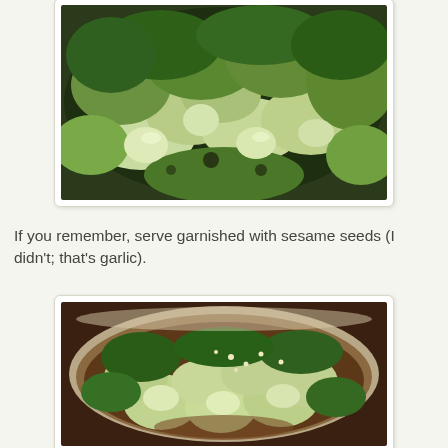[Figure (photo): Close-up photo of stir-fried bok choy with garlic in a bowl, showing bright green leaves and pale green stems glistening with sauce]
If you remember, serve garnished with sesame seeds (I didn't; that's garlic).
[Figure (photo): Photo of cooked bok choy in a white bowl with brown sauce and garlic/sesame seeds visible on top]